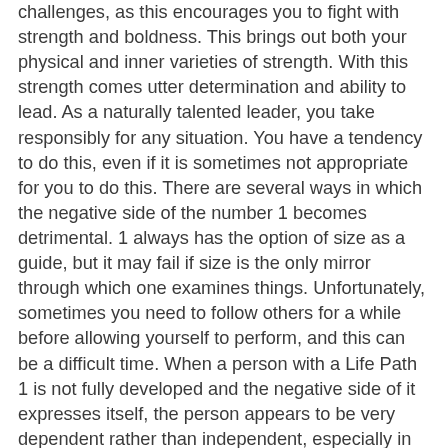challenges, as this encourages you to fight with strength and boldness. This brings out both your physical and inner varieties of strength. With this strength comes utter determination and ability to lead. As a naturally talented leader, you take responsibly for any situation. You have a tendency to do this, even if it is sometimes not appropriate for you to do this. There are several ways in which the negative side of the number 1 becomes detrimental. 1 always has the option of size as a guide, but it may fail if size is the only mirror through which one examines things. Unfortunately, sometimes you need to follow others for a while before allowing yourself to perform, and this can be a difficult time. When a person with a Life Path 1 is not fully developed and the negative side of it expresses itself, the person appears to be very dependent rather than independent, especially in the early years. If you express these negative trait of the number 1, you are likely to be very dissatisfied with the circumstances, and long for self-control. this could be considered the weak side or the negative qualities of the life path of 1. As an advice to mitigate the negative qualities of 1 which are mainly self-serving, selfish and self-centered, avoid being too bossy and demanding on